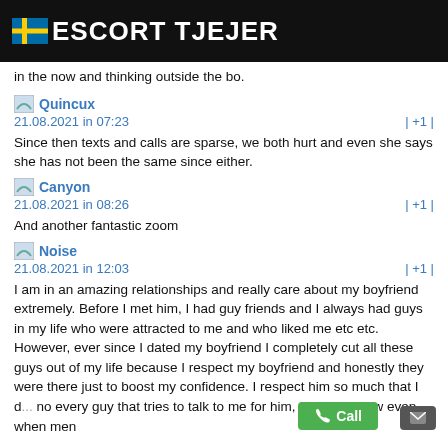ESCORT TJEJER
in the now and thinking outside the bo.
Quincux
21.08.2021 in 07:23   | +1 |
Since then texts and calls are sparse, we both hurt and even she says she has not been the same since either.
Canyon
21.08.2021 in 08:26   | +1 |
And another fantastic zoom
Noise
21.08.2021 in 12:03   | +1 |
I am in an amazing relationships and really care about my boyfriend extremely. Before I met him, I had guy friends and I always had guys in my life who were attracted to me and who liked me etc etc. However, ever since I dated my boyfriend I completely cut all these guys out of my life because I respect my boyfriend and honestly they were there just to boost my confidence. I respect him so much that I d... no every guy that tries to talk to me for him, that somehow even when men text him, some other context about that inform their calling and I t...